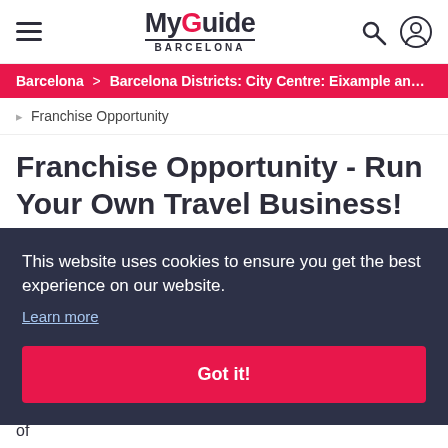My Guide Barcelona — navigation header with hamburger menu, logo, search and user icons
Barcelona > Barcelona Districts: City Centre: Eixample and Sagr...
▷ Franchise Opportunity
Franchise Opportunity - Run Your Own Travel Business!
This website uses cookies to ensure you get the best experience on our website.
Learn more
Got it!
If you are interested in learning to read more / partner for your travel needs and like to find out more then all information of